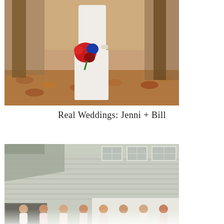[Figure (photo): Bride in white wedding dress holding a colorful red and blue bouquet, standing in autumn leaves with trees in background]
Real Weddings: Jenni + Bill
[Figure (photo): Group of bridesmaids in light pink/neutral dresses standing in front of a white wood-sided barn building]